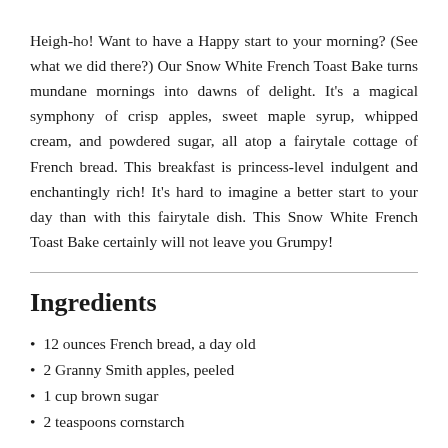Heigh-ho! Want to have a Happy start to your morning? (See what we did there?) Our Snow White French Toast Bake turns mundane mornings into dawns of delight. It's a magical symphony of crisp apples, sweet maple syrup, whipped cream, and powdered sugar, all atop a fairytale cottage of French bread. This breakfast is princess-level indulgent and enchantingly rich! It's hard to imagine a better start to your day than with this fairytale dish. This Snow White French Toast Bake certainly will not leave you Grumpy!
Ingredients
12 ounces French bread, a day old
2 Granny Smith apples, peeled
1 cup brown sugar
2 teaspoons cornstarch